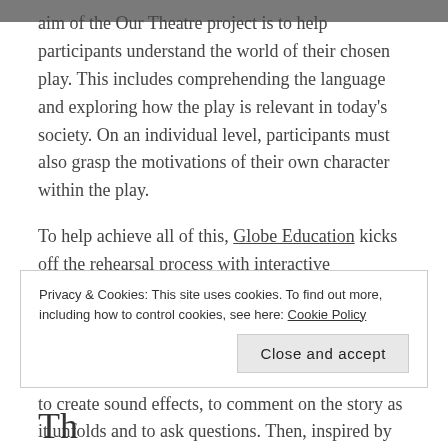aim of the Our Theatre project is to help participants understand the world of their chosen play. This includes comprehending the language and exploring how the play is relevant in today's society. On an individual level, participants must also grasp the motivations of their own character within the play.
To help achieve all of this, Globe Education kicks off the rehearsal process with interactive storytelling sessions. The participants visit The Globe to watch an hour-long version of Henry V, which is performed, single-handedly, by a Globe Education Practitioner. Participants are encouraged to create sound effects, to comment on the story as it unfolds and to ask questions. Then, inspired by
Privacy & Cookies: This site uses cookies. To find out more, including how to control cookies, see here: Cookie Policy
Close and accept
Th...